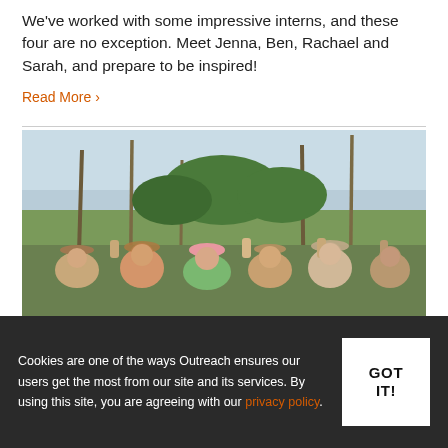We've worked with some impressive interns, and these four are no exception. Meet Jenna, Ben, Rachael and Sarah, and prepare to be inspired!
Read More >
[Figure (photo): Group of people outdoors wearing hats, raising their fists in celebration, with bamboo poles and trees in the background under a light blue sky.]
Cookies are one of the ways Outreach ensures our users get the most from our site and its services. By using this site, you are agreeing with our privacy policy.
GOT IT!